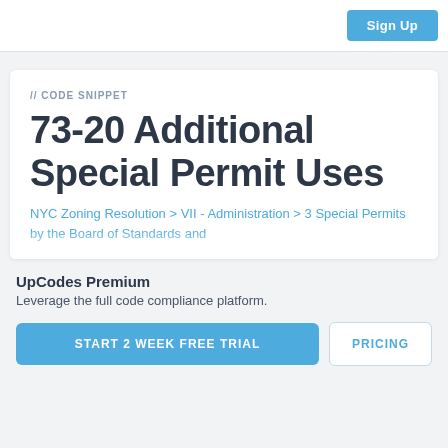Sign Up
// CODE SNIPPET
73-20 Additional Special Permit Uses
NYC Zoning Resolution > VII - Administration > 3 Special Permits by the Board of Standards and
UpCodes Premium
Leverage the full code compliance platform.
START 2 WEEK FREE TRIAL
PRICING